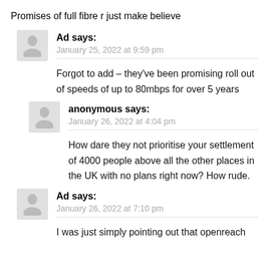Promises of full fibre r just make believe
Ad says:
January 25, 2022 at 9:59 pm
Forgot to add – they've been promising roll out of speeds of up to 80mbps for over 5 years
anonymous says:
January 26, 2022 at 4:04 pm
How dare they not prioritise your settlement of 4000 people above all the other places in the UK with no plans right now? How rude.
Ad says:
January 26, 2022 at 7:10 pm
I was just simply pointing out that openreach